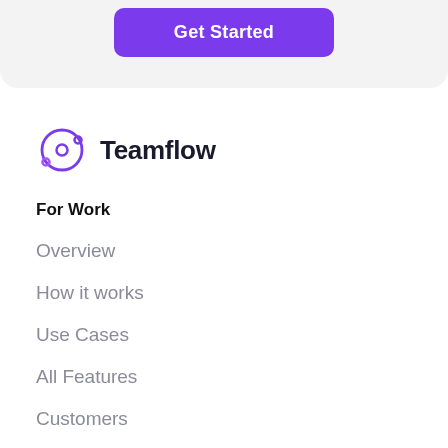[Figure (other): Get Started button on light gray rounded background section]
[Figure (logo): Teamflow logo: purple orbit/circle icon with the text Teamflow in dark navy]
For Work
Overview
How it works
Use Cases
All Features
Customers